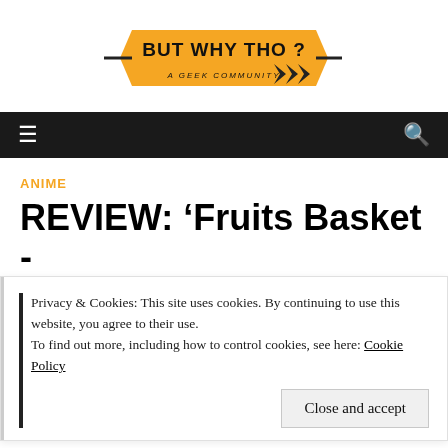[Figure (logo): But Why Tho? A Geek Community logo with orange and black design with chevrons]
Navigation bar with hamburger menu and search icon
ANIME
REVIEW: ‘Fruits Basket -prelude-’ Could Have Been
Privacy & Cookies: This site uses cookies. By continuing to use this website, you agree to their use.
To find out more, including how to control cookies, see here: Cookie Policy
Close and accept
SHARE   TWEET   PIN IT   SHARE